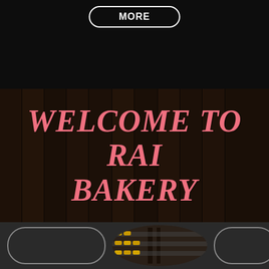MORE
[Figure (photo): Dark wood plank background texture with vertically oriented dark brown wooden boards]
WELCOME TO RAI BAKERY
[Figure (photo): Oval-framed photo of baked goods/cookies on display racks in a bakery]
[Figure (illustration): Green circular phone/call button icon with white phone handset symbol]